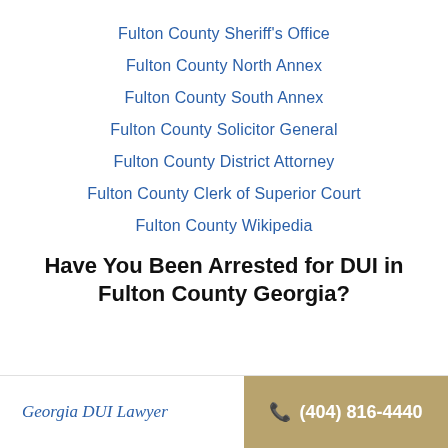Fulton County Sheriff's Office
Fulton County North Annex
Fulton County South Annex
Fulton County Solicitor General
Fulton County District Attorney
Fulton County Clerk of Superior Court
Fulton County Wikipedia
Have You Been Arrested for DUI in Fulton County Georgia?
Georgia DUI Lawyer  (404) 816-4440